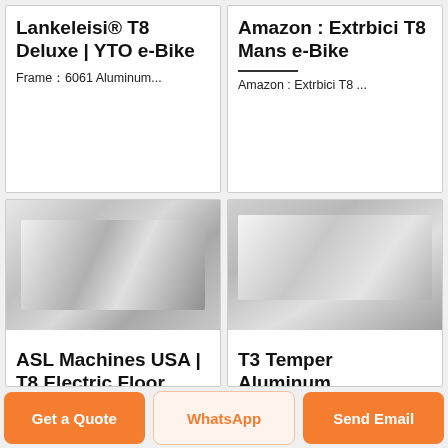Lankeleisi® T8 Deluxe | YTO e-Bike
Frame：6061 Aluminum...
Amazon : Extrbici T8 Mans e-Bike
Amazon : Extrbici T8 ...
[Figure (photo): Stacked aluminum sheets, silver metallic, industrial setting]
ASL Machines USA | T8 Electric Floor...
[Figure (photo): Stacked aluminum sheets, silver metallic, warehouse setting]
T3 Temper Aluminum...
Get a Quote
WhatsApp
Send Email